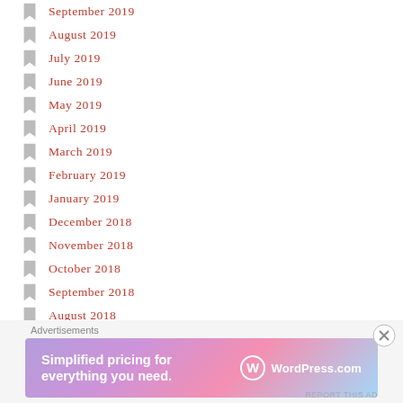September 2019
August 2019
July 2019
June 2019
May 2019
April 2019
March 2019
February 2019
January 2019
December 2018
November 2018
October 2018
September 2018
August 2018
July 2018
Advertisements
[Figure (screenshot): WordPress.com advertisement banner: 'Simplified pricing for everything you need.' with WordPress.com logo on a purple-pink gradient background]